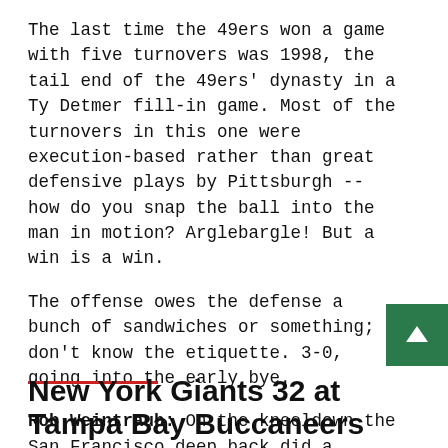The last time the 49ers won a game with five turnovers was 1998, the tail end of the 49ers' dynasty in a Ty Detmer fill-in game. Most of the turnovers in this one were execution-based rather than great defensive plays by Pittsburgh -- how do you snap the ball into the man in motion? Arglebargle! But a win is a win.
The offense owes the defense a bunch of sandwiches or something; I don't know the etiquette. 3-0, going into the early bye.
Rob Weintraub: On the kneeldown the San Francisco deep back did a standing backflip, which is also what I do every time the Steelers lose.
New York Giants 32 at Tampa Bay Buccaneers